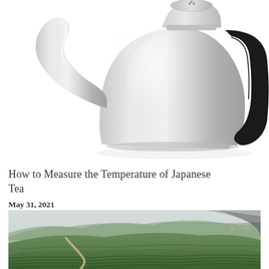[Figure (photo): Close-up of a stainless steel gooseneck pour-over kettle with a black handle, photographed on a white background.]
How to Measure the Temperature of Japanese Tea
May 31, 2021
[Figure (photo): Aerial view of lush green tea plantation hills with a misty sky and a winding dirt path through the terraced green rows.]